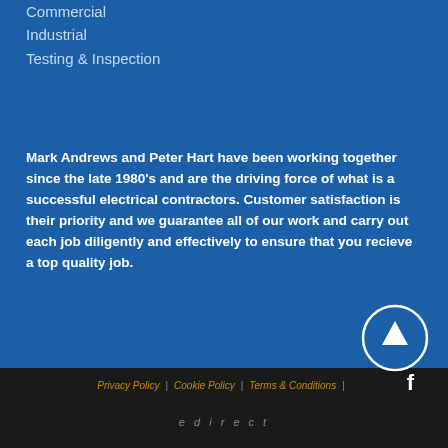Commercial
Industrial
Testing & Inspection
Mark Andrews and Peter Hart have been working together since the late 1980's and are the driving force of what is a successful electrical contractors. Customer satisfaction is their priority and we guarantee all of our work and carry out each job diligently and effectively to ensure that you recieve a top quality job.
Privacy Policy | Cookie Policy | Terms & Conditions |
edirect